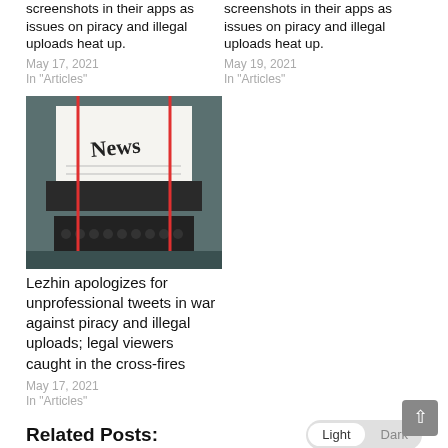screenshots in their apps as issues on piracy and illegal uploads heat up.
May 17, 2021
In "Articles"
screenshots in their apps as issues on piracy and illegal uploads heat up.
May 19, 2021
In "Articles"
[Figure (photo): Photo of a typewriter with the word 'News' typed on paper, with red vertical lines overlaid on both sides.]
Lezhin apologizes for unprofessional tweets in war against piracy and illegal uploads; legal viewers caught in the cross-fires
May 17, 2021
In "Articles"
Related Posts:
Lezhin apologizes for unprofessional tweets in war